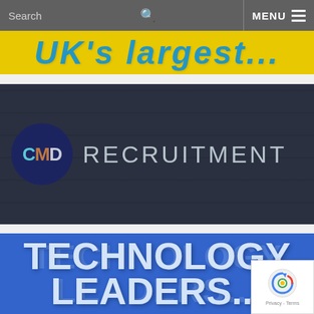Search   MENU
[Figure (screenshot): Partial yellow banner with blue italic text partially visible at top]
[Figure (logo): CMD Recruitment logo on dark navy background — circular CMD logo mark on left, RECRUITMENT text on right in light grey]
[Figure (screenshot): Blue banner with large bold white text reading TECHNOLOGY LEADERS...]
[Figure (screenshot): reCAPTCHA badge in bottom-right corner with Privacy - Terms text]